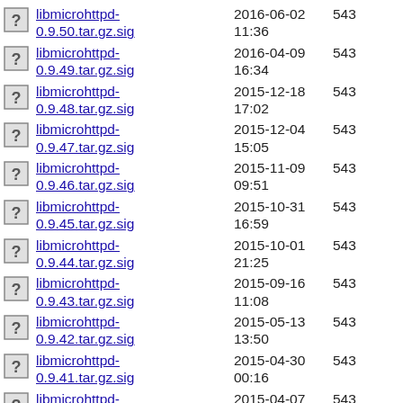libmicrohttpd-0.9.50.tar.gz.sig  2016-06-02 11:36  543
libmicrohttpd-0.9.49.tar.gz.sig  2016-04-09 16:34  543
libmicrohttpd-0.9.48.tar.gz.sig  2015-12-18 17:02  543
libmicrohttpd-0.9.47.tar.gz.sig  2015-12-04 15:05  543
libmicrohttpd-0.9.46.tar.gz.sig  2015-11-09 09:51  543
libmicrohttpd-0.9.45.tar.gz.sig  2015-10-31 16:59  543
libmicrohttpd-0.9.44.tar.gz.sig  2015-10-01 21:25  543
libmicrohttpd-0.9.43.tar.gz.sig  2015-09-16 11:08  543
libmicrohttpd-0.9.42.tar.gz.sig  2015-05-13 13:50  543
libmicrohttpd-0.9.41.tar.gz.sig  2015-04-30 00:16  543
libmicrohttpd-0.9.40.tar.gz.sig  2015-04-07 00:35  543
libmicrohttpd-  2014-12-24  543